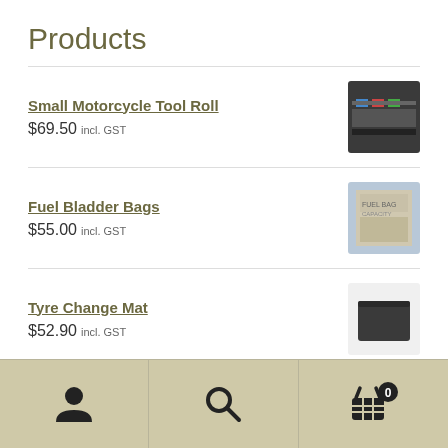Products
Small Motorcycle Tool Roll — $69.50 incl. GST
Fuel Bladder Bags — $55.00 incl. GST
Tyre Change Mat — $52.90 incl. GST
Embroidered Keyring — $9.50 incl. GST
Navigation bar with user, search, and cart (0) icons